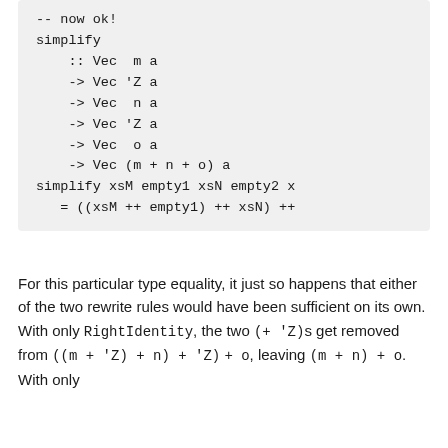-- now ok!
simplify
    :: Vec  m a
    -> Vec 'Z a
    -> Vec  n a
    -> Vec 'Z a
    -> Vec  o a
    -> Vec (m + n + o) a
simplify xsM empty1 xsN empty2 x
   = ((xsM ++ empty1) ++ xsN) ++
For this particular type equality, it just so happens that either of the two rewrite rules would have been sufficient on its own. With only RightIdentity, the two (+ 'Z)s get removed from ((m + 'Z) + n) + 'Z) + o, leaving (m + n) + o. With only